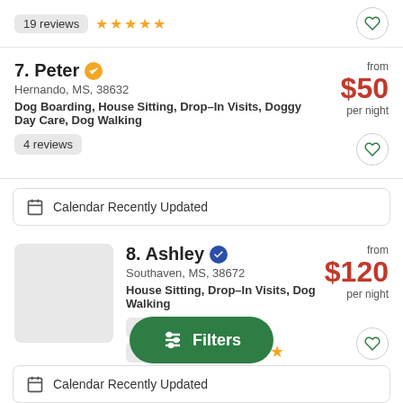19 reviews ★★★★★
7. Peter — Hernando, MS, 38632 — Dog Boarding, House Sitting, Drop-In Visits, Doggy Day Care, Dog Walking — 4 reviews — from $50 per night
Calendar Recently Updated
8. Ashley — Southaven, MS, 38672 — House Sitting, Drop-In Visits, Dog Walking — 14 repeat clients — 32 reviews ★★★★★ — from $120 per night
Filters
Calendar Recently Updated